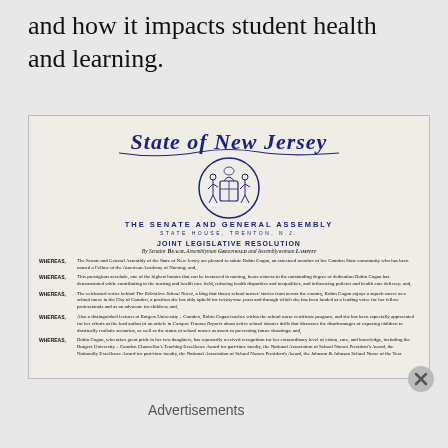and how it impacts student health and learning.
[Figure (photo): Photograph of a State of New Jersey Joint Legislative Resolution certificate. The certificate bears the State of New Jersey seal (coat of arms with two figures), the heading 'THE SENATE AND GENERAL ASSEMBLY / STATE HOUSE, TRENTON, N.J.', 'JOINT LEGISLATIVE RESOLUTION', 'By Senator BEACH, Assemblyman GREENWALD and Assemblywoman LAMPITT', followed by multiple WHEREAS clauses honoring Robin Cogan, a school nurse, Fellow of the American Academy of Nursing, celebrated writer behind The Relentless School Nurse blog, lecturer at Rutgers University – Camden, and who has received numerous awards.]
Advertisements